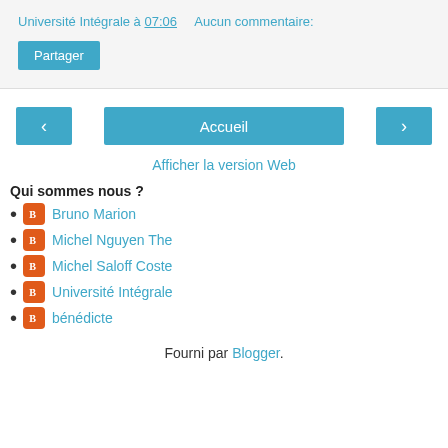Université Intégrale à 07:06    Aucun commentaire:
Partager
‹   Accueil   ›
Afficher la version Web
Qui sommes nous ?
Bruno Marion
Michel Nguyen The
Michel Saloff Coste
Université Intégrale
bénédicte
Fourni par Blogger.